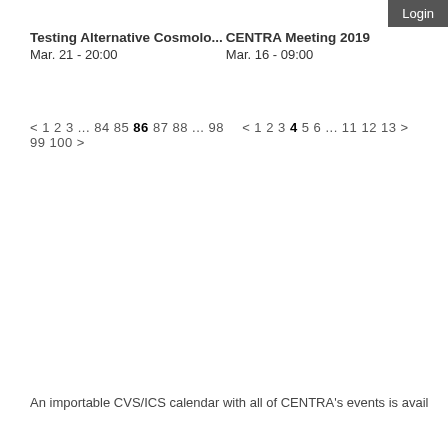Login
Testing Alternative Cosmolo...
Mar. 21 - 20:00
CENTRA Meeting 2019
Mar. 16 - 09:00
< 1 2 3 ... 84 85 86 87 88 ... 98 99 100 >
< 1 2 3 4 5 6 ... 11 12 13 >
An importable CVS/ICS calendar with all of CENTRA's events is avail